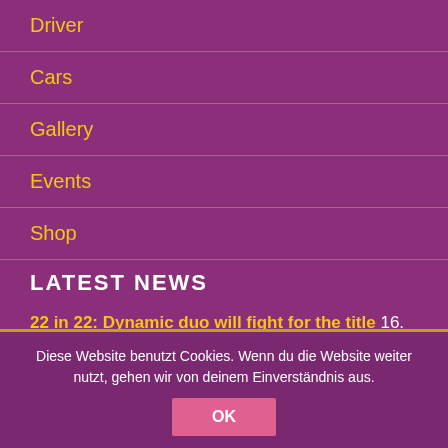Driver
Cars
Gallery
Events
Shop
LATEST NEWS
22 in 22: Dynamic duo will fight for the title 16. March 2022
Diese Website benutzt Cookies. Wenn du die Website weiter nutzt, gehen wir von deinem Einverständnis aus.
OK